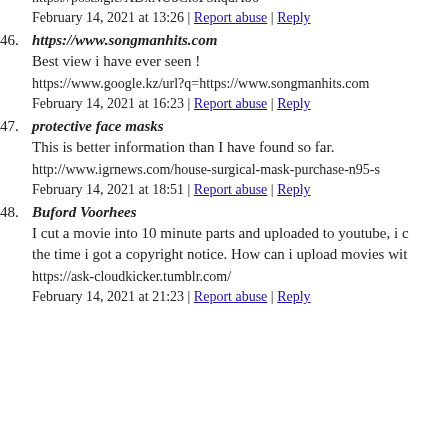https://posts.gle/XDxNUbCioP3hqdAb6
February 14, 2021 at 13:26 | Report abuse | Reply
46. https://www.songmanhits.com
Best view i have ever seen !
https://www.google.kz/url?q=https://www.songmanhits.com
February 14, 2021 at 16:23 | Report abuse | Reply
47. protective face masks
This is better information than I have found so far.
http://www.igrnews.com/house-surgical-mask-purchase-n95-s
February 14, 2021 at 18:51 | Report abuse | Reply
48. Buford Voorhees
I cut a movie into 10 minute parts and uploaded to youtube, i c the time i got a copyright notice. How can i upload movies wit
https://ask-cloudkicker.tumblr.com/
February 14, 2021 at 21:23 | Report abuse | Reply